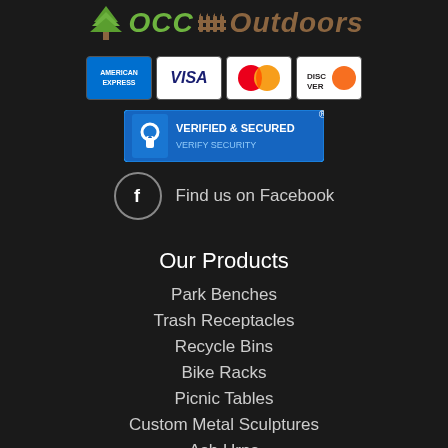[Figure (logo): OCC Outdoors logo with green tree icon, green OCC text, fence graphic, and brown Outdoors text]
[Figure (infographic): Four payment card logos: American Express, Visa, MasterCard, Discover]
[Figure (infographic): Verified & Secured badge with lock icon and text VERIFIED & SECURED / VERIFY SECURITY]
Find us on Facebook
Our Products
Park Benches
Trash Receptacles
Recycle Bins
Bike Racks
Picnic Tables
Custom Metal Sculptures
Ash Urns